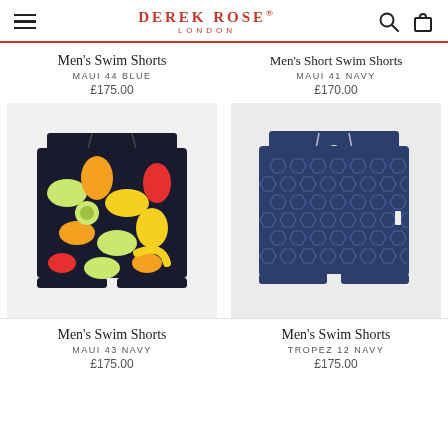DEREK ROSE® LONDON
Men's Swim Shorts
MAUI 44 BLUE
£175.00
Men's Short Swim Shorts
MAUI 41 NAVY
£170.00
[Figure (photo): Colorful fruit-print swim shorts (green, orange, yellow, red pattern) on white background]
[Figure (photo): Navy blue honeycomb/hexagon pattern swim shorts on light grey background]
Men's Swim Shorts
MAUI 43 NAVY
£175.00
Men's Swim Shorts
TROPEZ 12 NAVY
£175.00